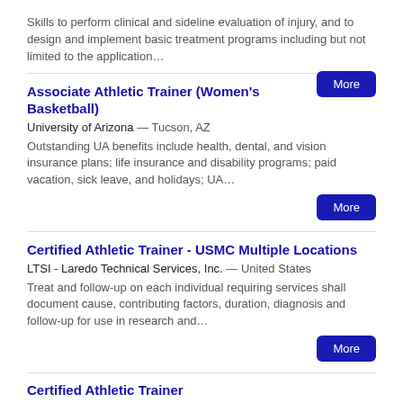Skills to perform clinical and sideline evaluation of injury, and to design and implement basic treatment programs including but not limited to the application…
More
Associate Athletic Trainer (Women's Basketball)
University of Arizona — Tucson, AZ
Outstanding UA benefits include health, dental, and vision insurance plans; life insurance and disability programs; paid vacation, sick leave, and holidays; UA…
More
Certified Athletic Trainer - USMC Multiple Locations
LTSI - Laredo Technical Services, Inc. — United States
Treat and follow-up on each individual requiring services shall document cause, contributing factors, duration, diagnosis and follow-up for use in research and…
More
Certified Athletic Trainer